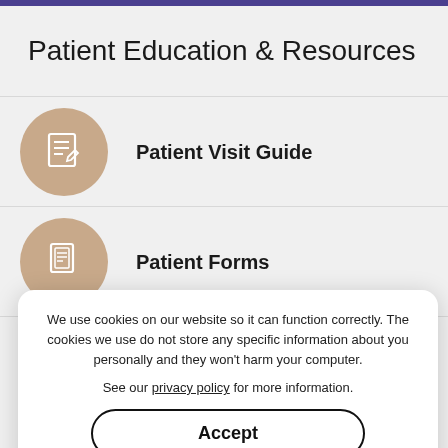Patient Education & Resources
Patient Visit Guide
Patient Forms
Insurance Info
We use cookies on our website so it can function correctly. The cookies we use do not store any specific information about you personally and they won't harm your computer.
See our privacy policy for more information.
Accept